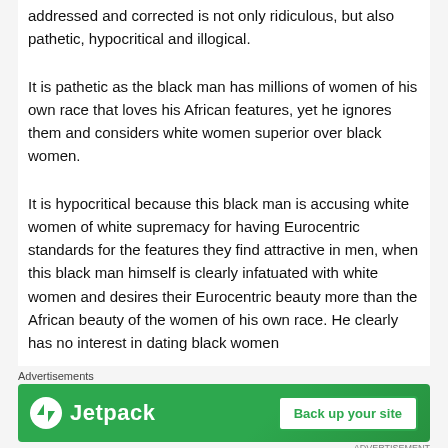addressed and corrected is not only ridiculous, but also pathetic, hypocritical and illogical.
It is pathetic as the black man has millions of women of his own race that loves his African features, yet he ignores them and considers white women superior over black women.
It is hypocritical because this black man is accusing white women of white supremacy for having Eurocentric standards for the features they find attractive in men, when this black man himself is clearly infatuated with white women and desires their Eurocentric beauty more than the African beauty of the women of his own race. He clearly has no interest in dating black women
Advertisements
[Figure (infographic): Jetpack advertisement banner with green background, Jetpack logo on left and 'Back up your site' button on right]